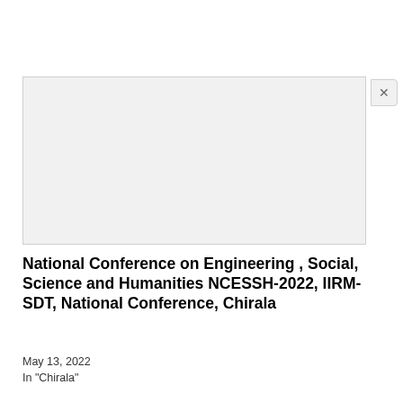[Figure (other): Gray placeholder image box with a close (×) button at the top-right corner]
National Conference on Engineering , Social, Science and Humanities NCESSH-2022, IIRM-SDT, National Conference, Chirala
May 13, 2022
In "Chirala"